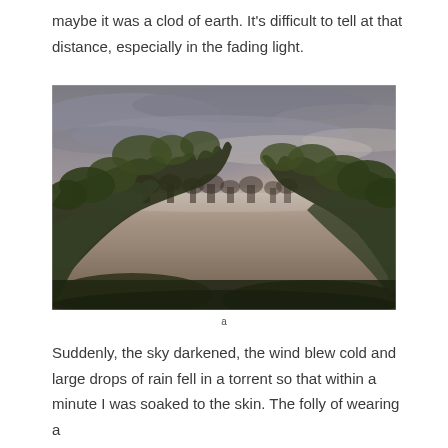maybe it was a clod of earth. It's difficult to tell at that distance, especially in the fading light.
[Figure (photo): Landscape photograph taken at dusk showing a misty flat field in the middle distance, with dark shrubs and leafy branches in the foreground on the left and right sides, trees silhouetted on the horizon, and a cloudy sky with pale light near the horizon.]
a
Suddenly, the sky darkened, the wind blew cold and large drops of rain fell in a torrent so that within a minute I was soaked to the skin. The folly of wearing a